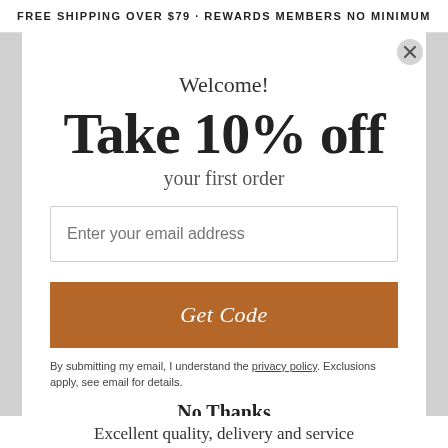FREE SHIPPING OVER $79 · REWARDS MEMBERS NO MINIMUM
Welcome!
Take 10% off
your first order
Enter your email address
Get Code
By submitting my email, I understand the privacy policy. Exclusions apply, see email for details.
No Thanks
Excellent quality, delivery and service